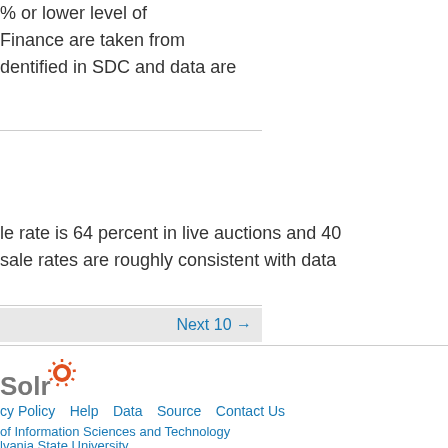% or lower level of Finance are taken from identified in SDC and data are
le rate is 64 percent in live auctions and 40 sale rates are roughly consistent with data
Next 10 →
[Figure (logo): Solr logo with orange sunburst icon]
cy Policy   Help   Data   Source   Contact Us
of Information Sciences and Technology
lvania State University